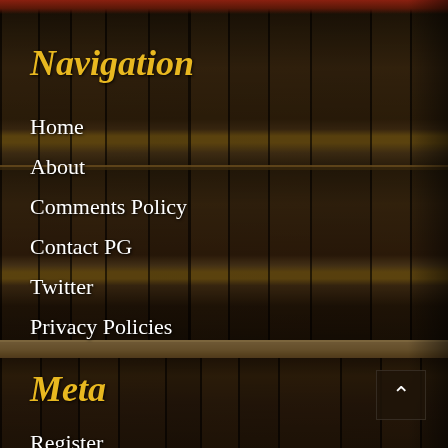Navigation
Home
About
Comments Policy
Contact PG
Twitter
Privacy Policies
Meta
Register
Log in
Entries feed